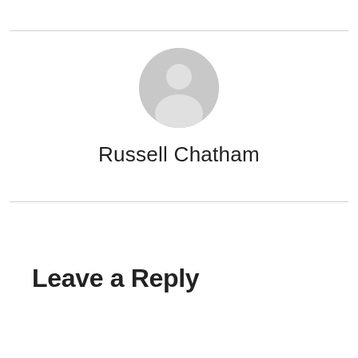[Figure (illustration): Generic user avatar icon — a gray silhouette of a person (head and shoulders) inside a gray circle, representing a default profile photo placeholder.]
Russell Chatham
Leave a Reply